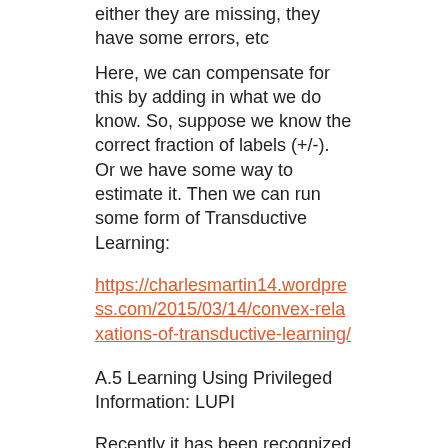either they are missing, they have some errors, etc
Here, we can compensate for this by adding in what we do know. So, suppose we know the correct fraction of labels (+/-). Or we have some way to estimate it. Then we can run some form of Transductive Learning:
https://charlesmartin14.wordpress.com/2015/03/14/convex-relaxations-of-transductive-learning/
A.5 Learning Using Privileged Information: LUPI
Recently it has been recognized that real world learning using involves a teacher and a student. For example, suppose we are trying to detect cancer in images of biopsies. We have the images.
But we also have a radiologist who can describe